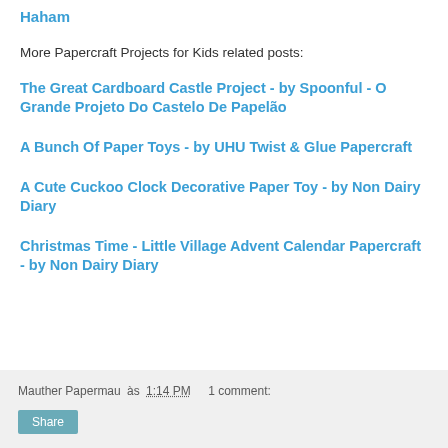Haham
More Papercraft Projects for Kids related posts:
The Great Cardboard Castle Project - by Spoonful - O Grande Projeto Do Castelo De Papelão
A Bunch Of Paper Toys - by UHU Twist & Glue Papercraft
A Cute Cuckoo Clock Decorative Paper Toy - by Non Dairy Diary
Christmas Time - Little Village Advent Calendar Papercraft - by Non Dairy Diary
Mauther Papermau às 1:14 PM    1 comment: